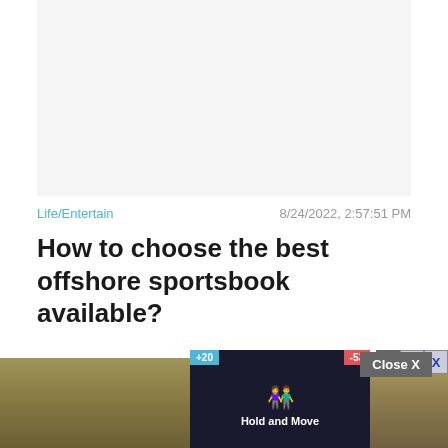[Figure (other): Gray placeholder advertisement banner area]
Life/Entertain
8/24/2022, 2:57:51 PM
How to choose the best offshore sportsbook available?
[Figure (screenshot): Bottom portion showing a photo of trees in winter with an overlay showing a game/app UI with 'Hold and Move' text and +20/-53 scores, a Close X button overlay, and help/close icons]